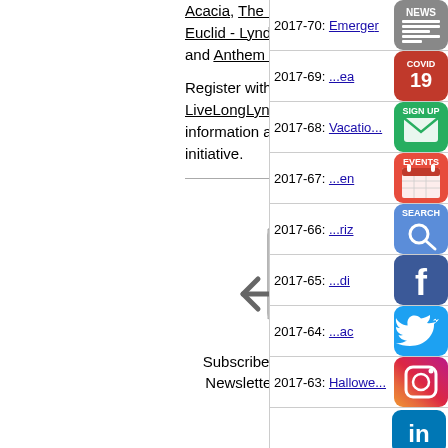Acacia, The Fedeli Group, the YMCA, South Euclid - Lyndhurst Schools, Second Sole, and Anthem BlueCross BlueShield.
Register with us today at LiveLongLyndhurst.com to receive ongoing information about this new and exciting initiative.
[Figure (illustration): Email/envelope icon with @ symbol and arrows, representing newsletter subscription]
Subscribe to the City of Lyndhurst, Ohio Newsletter to have current City News...
2017-70: Emerge...
[Figure (logo): NEWS icon button - gray rounded square with newspaper icon]
2017-69: ...ea
[Figure (logo): COVID 19 icon button - red rounded square]
2017-68: Vacatio...
[Figure (logo): SIGN UP icon button - green rounded square with envelope]
2017-67: ...en
[Figure (logo): EVENTS icon button - red rounded square with calendar]
2017-66: ...riz
[Figure (logo): SEARCH icon button - blue rounded square with magnifier]
2017-65: ...di
[Figure (logo): Facebook icon button - dark blue rounded square with f logo]
2017-64: ...ac
[Figure (logo): Twitter icon button - light blue rounded square with bird logo]
2017-63: Hallowe...
[Figure (logo): Instagram icon button - gradient rounded square with camera logo]
[Figure (logo): LinkedIn icon button - blue rounded square with in logo]